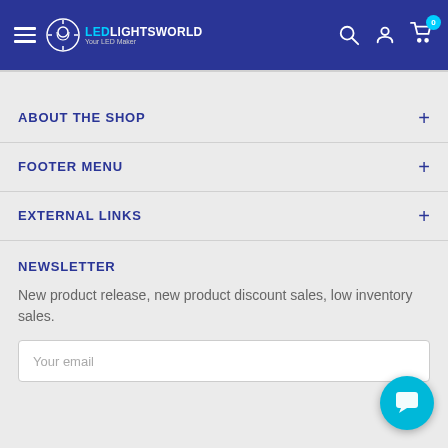LEDLightsWorld - Your LED Maker
ABOUT THE SHOP
FOOTER MENU
EXTERNAL LINKS
NEWSLETTER
New product release, new product discount sales, low inventory sales.